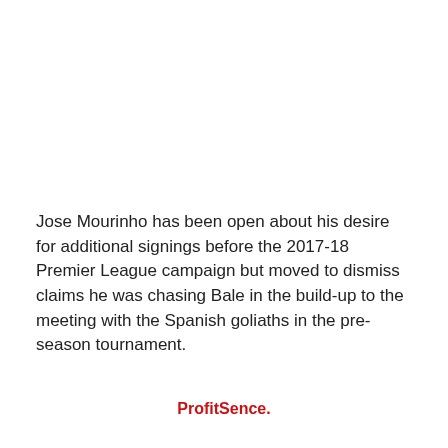Jose Mourinho has been open about his desire for additional signings before the 2017-18 Premier League campaign but moved to dismiss claims he was chasing Bale in the build-up to the meeting with the Spanish goliaths in the pre-season tournament.
Asked about the speculation linking him with a return to England with United, and Mourinho rubbishing reports, Bale told Sky Sports: “There you go. I haven’t said anything [on the rumours].”
Close
United have added Victor Lindelof and Romelu Lukaku to the ranks so far, with the latter agreeing a five-year deal in a
ProfitSence.